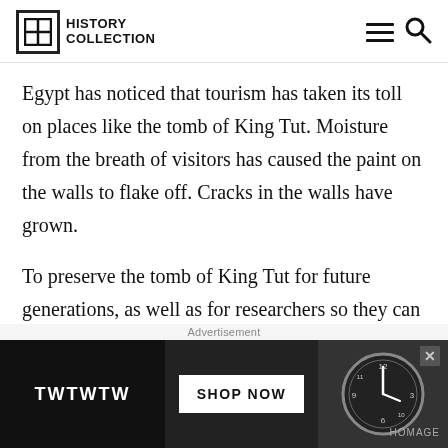HISTORY COLLECTION
Egypt has noticed that tourism has taken its toll on places like the tomb of King Tut. Moisture from the breath of visitors has caused the paint on the walls to flake off. Cracks in the walls have grown.
To preserve the tomb of King Tut for future generations, as well as for researchers so they can continue to carry out studies on the priceless artifacts there, a conservation team based in
Advertisement
[Figure (other): Advertisement banner: TWTWTW brand with SHOP NOW button and watch imagery, with HOMAGE branding and close button]